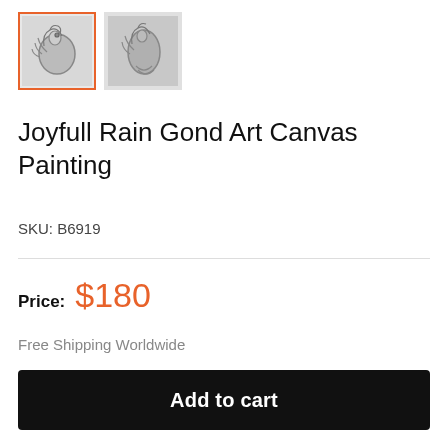[Figure (photo): Two thumbnail images of a Gond art canvas painting. The first thumbnail has an orange border indicating it is selected; the second is unselected. Both show a pencil/charcoal sketch of a decorative bird or peacock motif.]
Joyfull Rain Gond Art Canvas Painting
SKU: B6919
Price: $180
Free Shipping Worldwide
Stock: Only 1 unit left
Add to cart